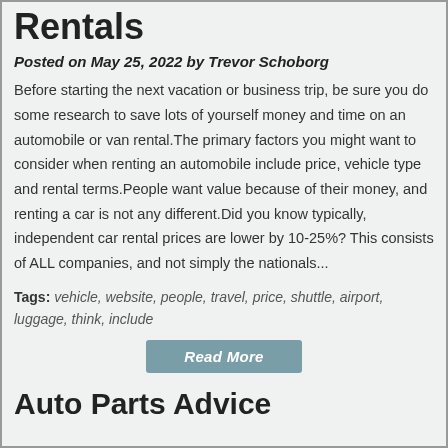Rentals
Posted on May 25, 2022 by Trevor Schoborg
Before starting the next vacation or business trip, be sure you do some research to save lots of yourself money and time on an automobile or van rental.The primary factors you might want to consider when renting an automobile include price, vehicle type and rental terms.People want value because of their money, and renting a car is not any different.Did you know typically, independent car rental prices are lower by 10-25%? This consists of ALL companies, and not simply the nationals...
Tags: vehicle, website, people, travel, price, shuttle, airport, luggage, think, include
[Figure (other): Read More button]
Auto Parts Advice